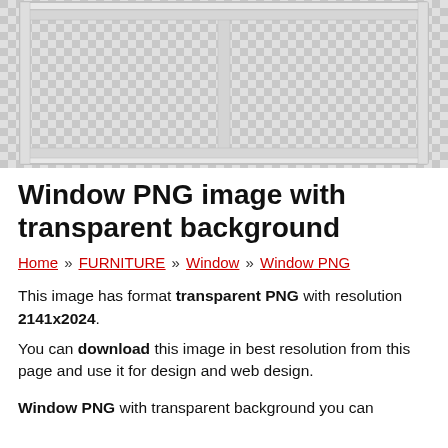[Figure (photo): A white window frame with two panes shown against a transparent (checkerboard) background, rendered as a PNG image with transparent background.]
Window PNG image with transparent background
Home » FURNITURE » Window » Window PNG
This image has format transparent PNG with resolution 2141x2024. You can download this image in best resolution from this page and use it for design and web design.
Window PNG with transparent background you can